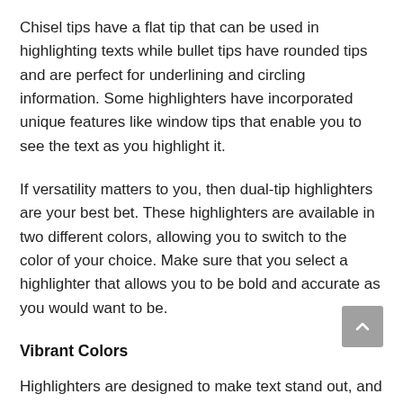Chisel tips have a flat tip that can be used in highlighting texts while bullet tips have rounded tips and are perfect for underlining and circling information. Some highlighters have incorporated unique features like window tips that enable you to see the text as you highlight it.
If versatility matters to you, then dual-tip highlighters are your best bet. These highlighters are available in two different colors, allowing you to switch to the color of your choice. Make sure that you select a highlighter that allows you to be bold and accurate as you would want to be.
Vibrant Colors
Highlighters are designed to make text stand out, and